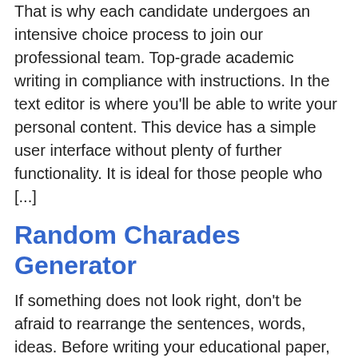That is why each candidate undergoes an intensive choice process to join our professional team. Top-grade academic writing in compliance with instructions. In the text editor is where you'll be able to write your personal content. This device has a simple user interface without plenty of further functionality. It is ideal for those people who [...]
Random Charades Generator
If something does not look right, don't be afraid to rearrange the sentences, words, ideas. Before writing your educational paper, arrange it first. It will systematize your ideas and put together you for analysis or essay writing. Make notes.To determine on âthe key sources,â you have to skim an excellent variety of articles. Most of [...]
Kiwipapers
Ivy Panda has a client rating of four.ninety one stars from sixty four opinions indicating that the majority clients...